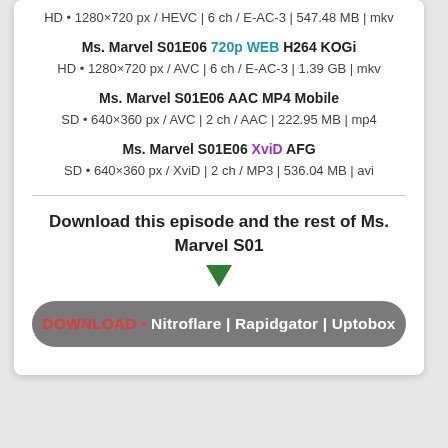HD • 1280×720 px / HEVC | 6 ch / E-AC-3 | 547.48 MB | mkv
Ms. Marvel S01E06 720p WEB H264 KOGi
HD • 1280×720 px / AVC | 6 ch / E-AC-3 | 1.39 GB | mkv
Ms. Marvel S01E06 AAC MP4 Mobile
SD • 640×360 px / AVC | 2 ch / AAC | 222.95 MB | mp4
Ms. Marvel S01E06 XviD AFG
SD • 640×360 px / XviD | 2 ch / MP3 | 536.04 MB | avi
Download this episode and the rest of Ms. Marvel S01
DOWNLOAD • Nitroflare | Rapidgator | Uptobox